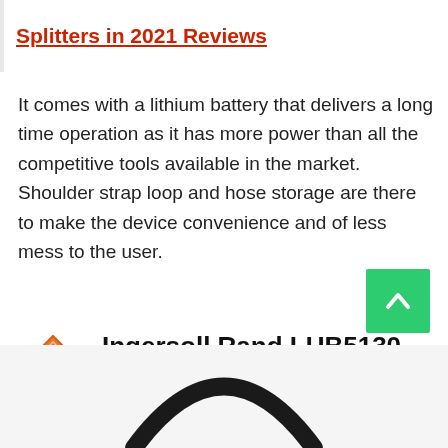Splitters in 2021 Reviews
It comes with a lithium battery that delivers a long time operation as it has more power than all the competitive tools available in the market. Shoulder strap loop and hose storage are there to make the device convenience and of less mess to the user.
02. Ingersoll Rand LUB5130 20V Lithium-Ion Cordless Grease Guns
[Figure (photo): Bottom portion showing arc shape of a product (grease gun) on light gray background]